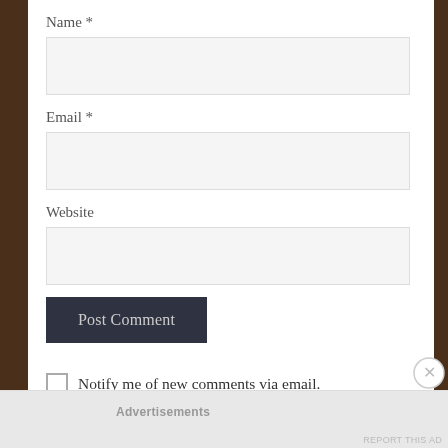Name *
Email *
Website
Post Comment
Notify me of new comments via email.
Notify me of new posts via email.
Advertisements
REPORT THIS AD